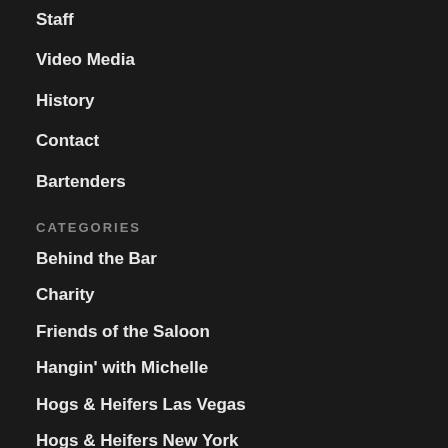Staff
Video Media
History
Contact
Bartenders
CATEGORIES
Behind the Bar
Charity
Friends of the Saloon
Hangin' with Michelle
Hogs & Heifers Las Vegas
Hogs & Heifers New York
Hogs & Heifers Racing